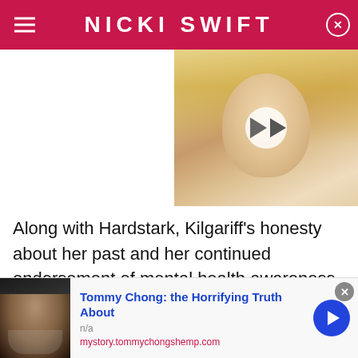NICKI SWIFT
[Figure (photo): Blonde woman photo with video play button overlay]
Along with Hardstark, Kilgariff's honesty about her past and her continued endorsement of mental health awareness has spawned its own movement. As per the Independent, their #MyFavoriteMeds hashtag has become a way to "use their platform to normalize issues
[Figure (infographic): Advertisement banner: Tommy Chong photo with text 'Tommy Chong: the Horrifying Truth About', n/a, mystory.tommychongshemp.com, with blue arrow button]